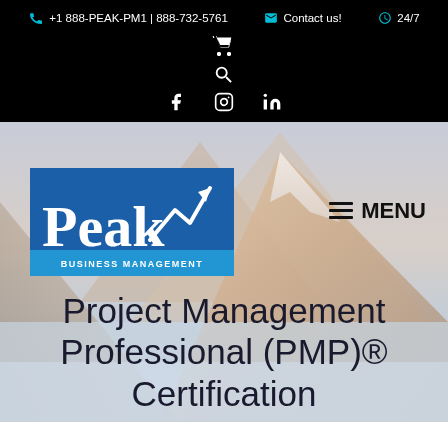+1 888-PEAK-PM1 | 888-732-5761  Contact us!  24/7
[Figure (logo): Peak Business Management logo with blue background, white text 'Peak' in serif font with upward arrow graphic, and 'BUSINESS MANAGEMENT' in white on teal band at bottom]
≡ MENU
Project Management Professional (PMP)® Certification